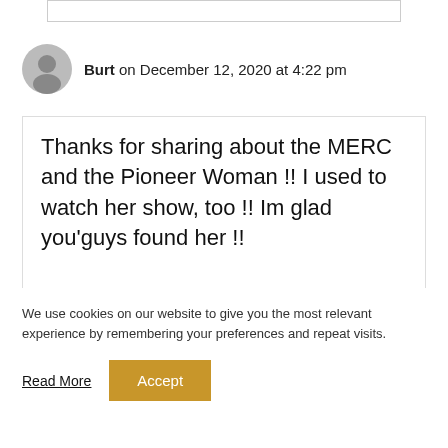Burt on December 12, 2020 at 4:22 pm
Thanks for sharing about the MERC and the Pioneer Woman !! I used to watch her show, too !! Im glad you’guys found her !!
We use cookies on our website to give you the most relevant experience by remembering your preferences and repeat visits.
Read More
Accept